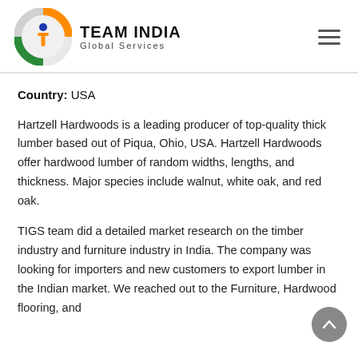[Figure (logo): Team India Global Services logo: circular emblem with orange, white, green colors and a person figure in orange, with blue circle head, on a white/grey background. Logo text reads TEAM INDIA Global Services.]
Country: USA
Hartzell Hardwoods is a leading producer of top-quality thick lumber based out of Piqua, Ohio, USA. Hartzell Hardwoods offer hardwood lumber of random widths, lengths, and thickness. Major species include walnut, white oak, and red oak.
TIGS team did a detailed market research on the timber industry and furniture industry in India. The company was looking for importers and new customers to export lumber in the Indian market. We reached out to the Furniture, Hardwood flooring, and